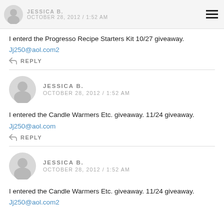JESSICA B. OCTOBER 28, 2012 / 1:52 AM
I enterd the Progresso Recipe Starters Kit 10/27 giveaway.
Jj250@aol.com2
REPLY
JESSICA B. OCTOBER 28, 2012 / 1:52 AM
I entered the Candle Warmers Etc. giveaway. 11/24 giveaway.
Jj250@aol.com
REPLY
JESSICA B. OCTOBER 28, 2012 / 1:52 AM
I entered the Candle Warmers Etc. giveaway. 11/24 giveaway.
Jj250@aol.com2